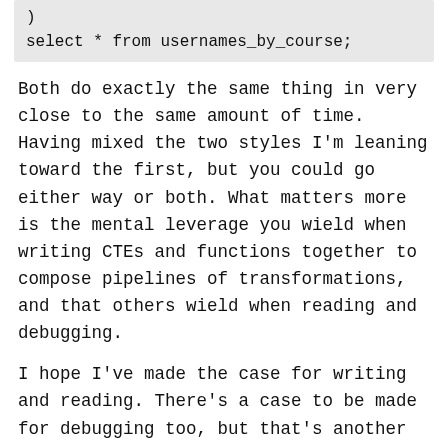)
select * from usernames_by_course;
Both do exactly the same thing in very close to the same amount of time. Having mixed the two styles I'm leaning toward the first, but you could go either way or both. What matters more is the mental leverage you wield when writing CTEs and functions together to compose pipelines of transformations, and that others wield when reading and debugging.
I hope I've made the case for writing and reading. There's a case to be made for debugging too, but that's another episode.
—
1 https://blog.jonudell.net/2021/07/21/a-virtuous-cycle-for-analytics/
2 https://blog.jonudell.net/2021/07/24/pl-pgsql-versus-pl-python-heres-why-im-using-both-to-